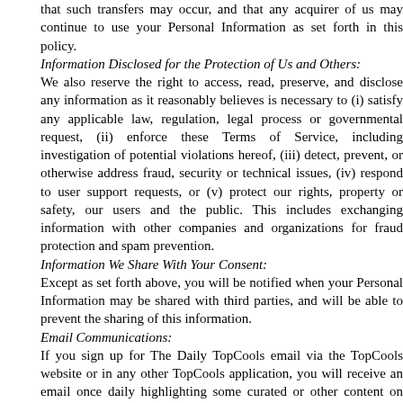that such transfers may occur, and that any acquirer of us may continue to use your Personal Information as set forth in this policy.
Information Disclosed for the Protection of Us and Others:
We also reserve the right to access, read, preserve, and disclose any information as it reasonably believes is necessary to (i) satisfy any applicable law, regulation, legal process or governmental request, (ii) enforce these Terms of Service, including investigation of potential violations hereof, (iii) detect, prevent, or otherwise address fraud, security or technical issues, (iv) respond to user support requests, or (v) protect our rights, property or safety, our users and the public. This includes exchanging information with other companies and organizations for fraud protection and spam prevention.
Information We Share With Your Consent:
Except as set forth above, you will be notified when your Personal Information may be shared with third parties, and will be able to prevent the sharing of this information.
Email Communications:
If you sign up for The Daily TopCools email via the TopCools website or in any other TopCools application, you will receive an email once daily highlighting some curated or other content on TopCools.
Regardless of whether you decide to receive The Daily TopCools, as part of TopCools, you may occasionally receive from us email and other communication relating to your Account. These emails will only be sent for important purposes, such as password recovery.
We may receive a confirmation when you open an email from us. We use this confirmation to improve email deliverability or our customer service.
Is Information About Me Secure?
Your Account information (including your Twitter, Facebook, Google or other third-party logins) is protected for your privacy and security. You need to prevent unauthorized access to your account and Personal Information by selecting and protecting your password appropriately and...